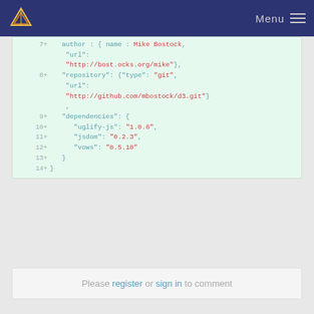Menu
[Figure (screenshot): Code diff viewer showing lines 7-14 of a package.json file with added lines highlighted in green, showing author, repository, and dependencies fields]
Please register or sign in to comment